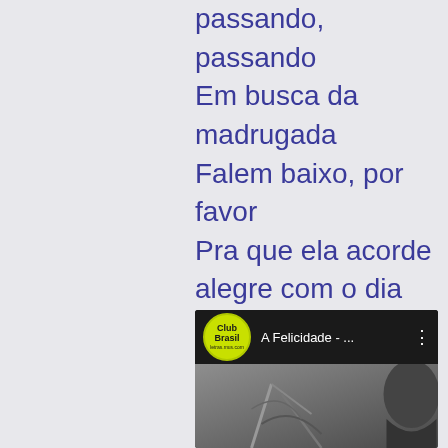passando, passando
Em busca da madrugada
Falem baixo, por favor
Pra que ela acorde alegre com o dia
Oferecendo beijos de amor
[Figure (screenshot): Screenshot of a music video player showing 'A Felicidade - ...' with Club Brasil logo badge, dark background with microphone image]